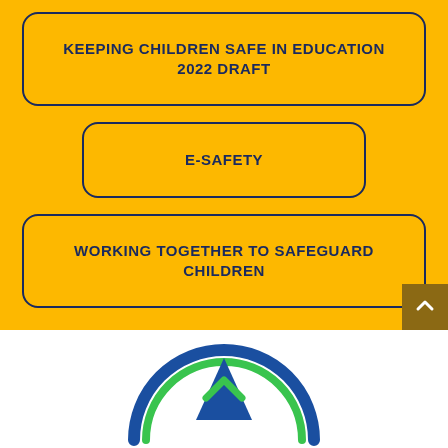KEEPING CHILDREN SAFE IN EDUCATION 2022 DRAFT
E-SAFETY
WORKING TOGETHER TO SAFEGUARD CHILDREN
[Figure (logo): Circular compass-style logo with blue arc, green arc, blue triangle arrow pointing up, and green chevron arrow, partially visible at bottom of page]